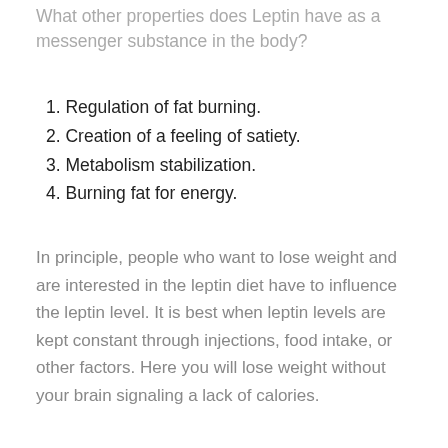What other properties does Leptin have as a messenger substance in the body?
1. Regulation of fat burning.
2. Creation of a feeling of satiety.
3. Metabolism stabilization.
4. Burning fat for energy.
In principle, people who want to lose weight and are interested in the leptin diet have to influence the leptin level. It is best when leptin levels are kept constant through injections, food intake, or other factors. Here you will lose weight without your brain signaling a lack of calories.